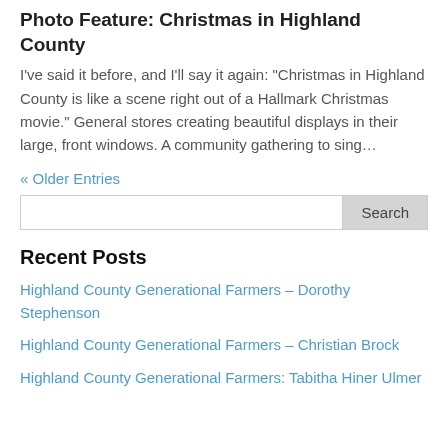Photo Feature: Christmas in Highland County
I've said it before, and I'll say it again: “Christmas in Highland County is like a scene right out of a Hallmark Christmas movie.” General stores creating beautiful displays in their large, front windows. A community gathering to sing…
« Older Entries
Recent Posts
Highland County Generational Farmers – Dorothy Stephenson
Highland County Generational Farmers – Christian Brock
Highland County Generational Farmers: Tabitha Hiner Ulmer